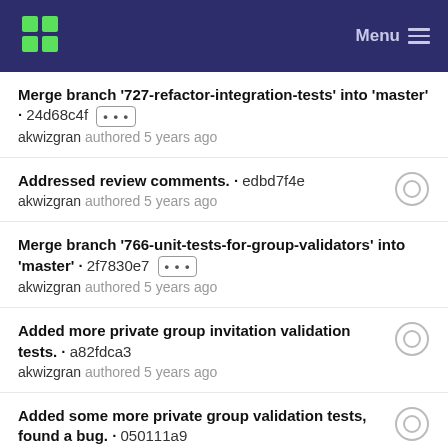Menu
Merge branch '727-refactor-integration-tests' into 'master' · 24d68c4f ··· akwizgran authored 5 years ago
Addressed review comments. · edbd7f4e akwizgran authored 5 years ago
Merge branch '766-unit-tests-for-group-validators' into 'master' · 2f7830e7 ··· akwizgran authored 5 years ago
Added more private group invitation validation tests. · a82fdca3 akwizgran authored 5 years ago
Added some more private group validation tests, found a bug. · 050111a9 akwizgran authored 5 years ago